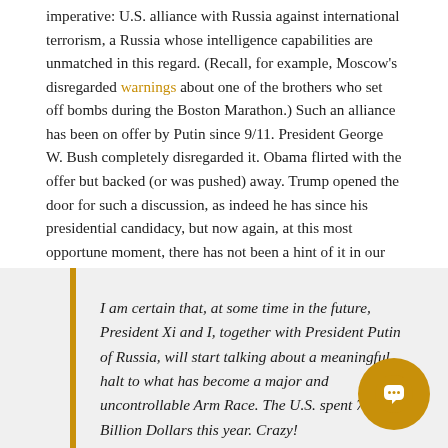imperative: U.S. alliance with Russia against international terrorism, a Russia whose intelligence capabilities are unmatched in this regard. (Recall, for example, Moscow's disregarded warnings about one of the brothers who set off bombs during the Boston Marathon.) Such an alliance has been on offer by Putin since 9/11. President George W. Bush completely disregarded it. Obama flirted with the offer but backed (or was pushed) away. Trump opened the door for such a discussion, as indeed he has since his presidential candidacy, but now again, at this most opportune moment, there has not been a hint of it in our political-media establishment. Instead, a national security imperative has been treated as "treacherous."
I am certain that, at some time in the future, President Xi and I, together with President Putin of Russia, will start talking about a meaningful halt to what has become a major and uncontrollable Arms Race. The U.S. spent 716 Billion Dollars this year. Crazy!